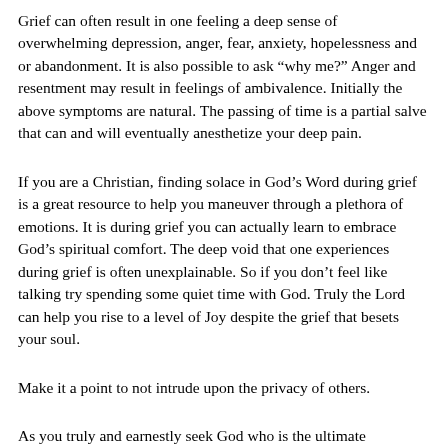Grief can often result in one feeling a deep sense of overwhelming depression, anger, fear, anxiety, hopelessness and or abandonment. It is also possible to ask “why me?” Anger and resentment may result in feelings of ambivalence. Initially the above symptoms are natural. The passing of time is a partial salve that can and will eventually anesthetize your deep pain.
If you are a Christian, finding solace in God’s Word during grief is a great resource to help you maneuver through a plethora of emotions. It is during grief you can actually learn to embrace God’s spiritual comfort. The deep void that one experiences during grief is often unexplainable. So if you don’t feel like talking try spending some quiet time with God. Truly the Lord can help you rise to a level of Joy despite the grief that besets your soul.
Make it a point to not intrude upon the privacy of others.
As you truly and earnestly seek God who is the ultimate “Comforter” you can experience His abiding presence. If you are a believer you should know that God’s Word is true. Not some of it